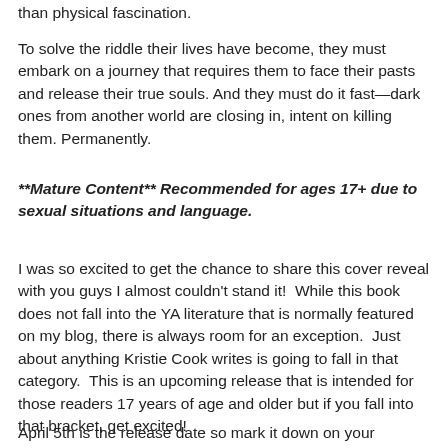than physical fascination.
To solve the riddle their lives have become, they must embark on a journey that requires them to face their pasts and release their true souls. And they must do it fast—dark ones from another world are closing in, intent on killing them. Permanently.
**Mature Content** Recommended for ages 17+ due to sexual situations and language.
I was so excited to get the chance to share this cover reveal with you guys I almost couldn't stand it!  While this book does not fall into the YA literature that is normally featured on my blog, there is always room for an exception.  Just about anything Kristie Cook writes is going to fall in that category.  This is an upcoming release that is intended for those readers 17 years of age and older but if you fall into that bracket, get excited!
April 5th is the release date so mark it down on your